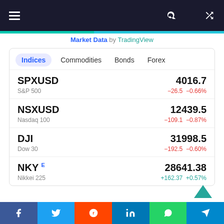Navigation bar with menu, search, and shuffle icons
Market Data by TradingView
| Symbol | Name | Price | Change | Change% |
| --- | --- | --- | --- | --- |
| SPXUSD | S&P 500 | 4016.7 | -26.5 | -0.66% |
| NSXUSD | Nasdaq 100 | 12439.5 | -109.1 | -0.87% |
| DJI | Dow 30 | 31998.5 | -192.5 | -0.60% |
| NKY E | Nikkei 225 | 28641.38 | +162.37 | +0.57% |
Social share bar: Facebook, Twitter, Reddit, LinkedIn, WhatsApp, Telegram